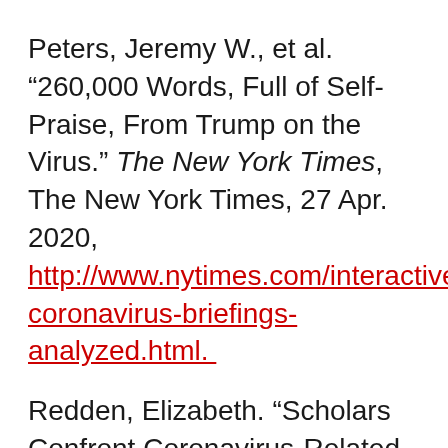Peters, Jeremy W., et al. “260,000 Words, Full of Self-Praise, From Trump on the Virus.” The New York Times, The New York Times, 27 Apr. 2020, http://www.nytimes.com/interactive/2020/coronavirus-briefings-analyzed.html.
Redden, Elizabeth. “Scholars Confront Coronavirus-Related